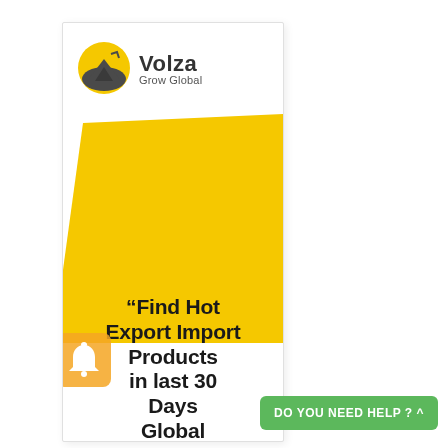[Figure (logo): Volza Grow Global logo with circular mountain/sun icon and company name]
[Figure (illustration): Yellow diagonal decorative shape filling lower portion of the banner card]
“Find Hot Export Import Products in last 30 Days Global Shipments”
[Figure (illustration): Orange bell/notification icon at bottom left of banner]
DO YOU NEED HELP ? ^